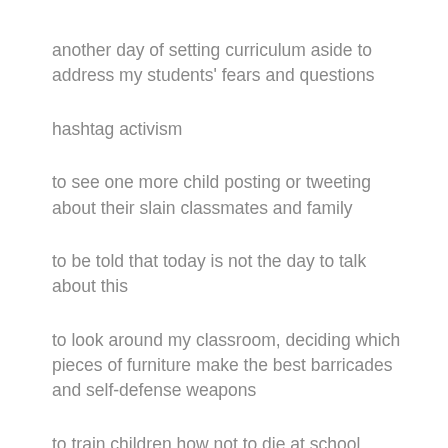another day of setting curriculum aside to address my students' fears and questions
hashtag activism
to see one more child posting or tweeting about their slain classmates and family
to be told that today is not the day to talk about this
to look around my classroom, deciding which pieces of furniture make the best barricades and self-defense weapons
to train children how not to die at school